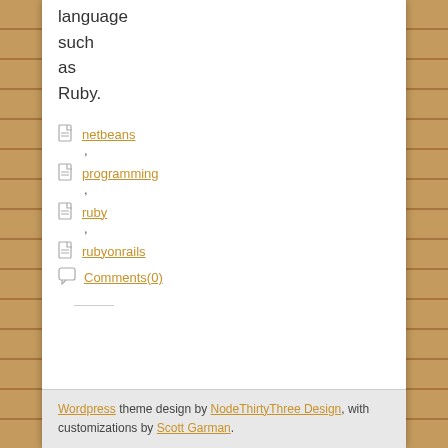language such as Ruby.
netbeans
programming
ruby
rubyonrails
Comments(0)
Wordpress theme design by NodeThirtyThree Design, with customizations by Scott Garman.